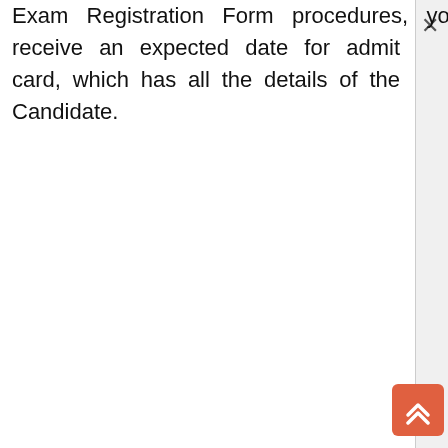Exam Registration Form procedures, you will receive an expected date for admit card, which has all the details of the Candidate.